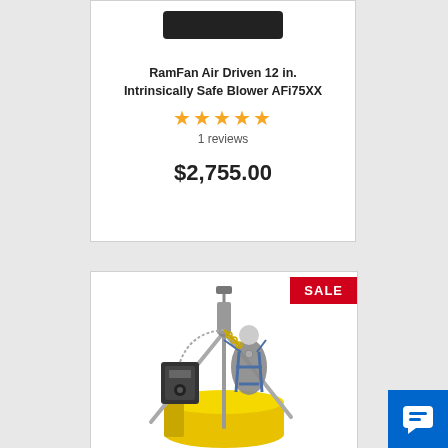RamFan Air Driven 12 in. Intrinsically Safe Blower AFi75XX
★★★★★
1 reviews
$2,755.00
[Figure (photo): Safety equipment including tripod, harness, and yellow confined space equipment with SALE badge]
SALE